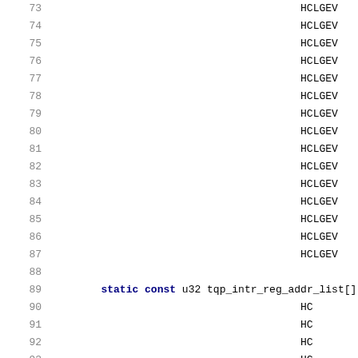73  HCLGEV
74  HCLGEV
75  HCLGEV
76  HCLGEV
77  HCLGEV
78  HCLGEV
79  HCLGEV
80  HCLGEV
81  HCLGEV
82  HCLGEV
83  HCLGEV
84  HCLGEV
85  HCLGEV
86  HCLGEV
87  HCLGEV
88
89  static const u32 tqp_intr_reg_addr_list[] = {HC
90  HC
91  HC
92  HC
93  HC
94